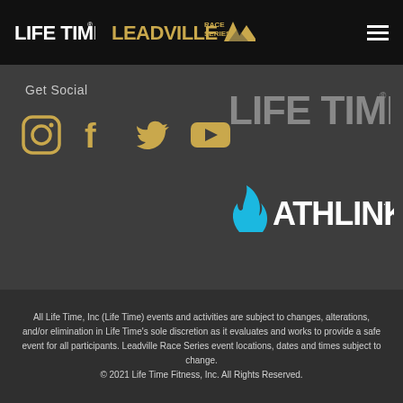LIFE TIME | LEADVILLE RACE SERIES
Get Social
[Figure (logo): Social media icons: Instagram, Facebook, Twitter, YouTube in gold/tan color]
[Figure (logo): Life Time logo in gray text]
[Figure (logo): Athlinks logo with blue flame icon and white text]
All Life Time, Inc (Life Time) events and activities are subject to changes, alterations, and/or elimination in Life Time's sole discretion as it evaluates and works to provide a safe event for all participants. Leadville Race Series event locations, dates and times subject to change. © 2021 Life Time Fitness, Inc. All Rights Reserved.